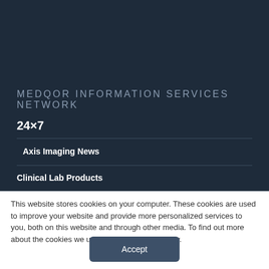MEDQOR INFORMATION SERVICES NETWORK
24×7
Axis Imaging News
Clinical Lab Products
This website stores cookies on your computer. These cookies are used to improve your website and provide more personalized services to you, both on this website and through other media. To find out more about the cookies we use, see our Privacy Policy.
Accept